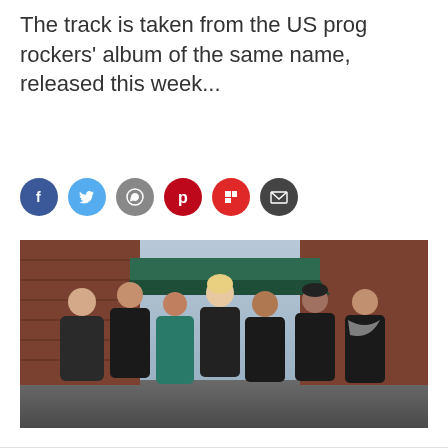The track is taken from the US prog rockers' album of the same name, released this week...
[Figure (infographic): Row of six social media share icons: Facebook (blue circle), Twitter (light blue circle), WhatsApp (grey circle), Pinterest (red circle), Flipboard (red circle), Email (dark grey circle)]
[Figure (photo): Group photo of seven people (a band) standing together outdoors on a cobblestone street in front of a brick building. They are posing with arms around each other. One woman is wearing a teal coat, another woman has long blonde hair, and the men are dressed in dark clothing.]